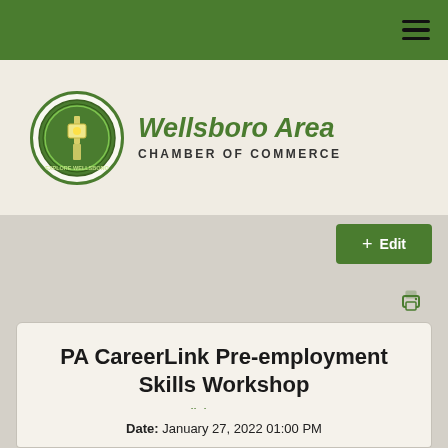Wellsboro Area Chamber of Commerce
[Figure (logo): Wellsboro Area Chamber of Commerce logo with green circular emblem and italic green text 'Wellsboro Area' above bold uppercase 'CHAMBER OF COMMERCE']
+ Edit
PA CareerLink Pre-employment Skills Workshop
Wellsboro Events
Date: January 27, 2022 01:00 PM